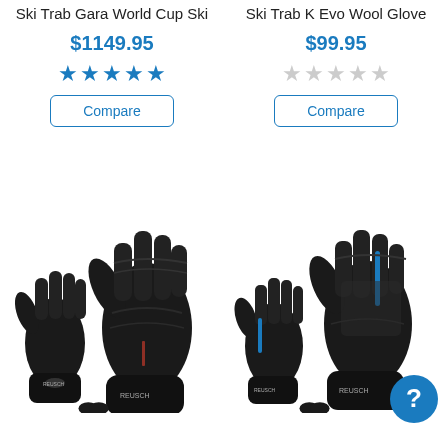Ski Trab Gara World Cup Ski
$1149.95
★★★★★ (5 filled stars)
Compare
Ski Trab K Evo Wool Glove
$99.95
☆☆☆☆☆ (0 filled stars)
Compare
[Figure (photo): Two black ski/snow gloves shown in pair, one smaller one larger, black leather construction with brand logo, white background]
[Figure (photo): Two black ski gloves with blue accent stripe, shown as a pair (smaller and larger), black construction with blue zipper detail and brand logo, white background]